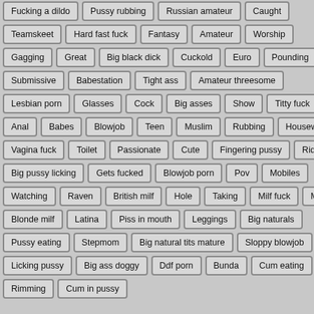Fucking a dildo
Pussy rubbing
Russian amateur
Caught
Teamskeet
Hard fast fuck
Fantasy
Amateur
Worship
Gagging
Great
Big black dick
Cuckold
Euro
Pounding
Submissive
Babestation
Tight ass
Amateur threesome
Lesbian porn
Glasses
Cock
Big asses
Show
Titty fuck
Anal
Babes
Blowjob
Teen
Muslim
Rubbing
Housewife
Vagina fuck
Toilet
Passionate
Cute
Fingering pussy
Ride
Big pussy licking
Gets fucked
Blowjob porn
Pov
Mobiles
Watching
Raven
British milf
Hole
Taking
Milf fuck
Mmf
Blonde milf
Latina
Piss in mouth
Leggings
Big naturals
Pussy eating
Stepmom
Big natural tits mature
Sloppy blowjob
Licking pussy
Big ass doggy
Ddf porn
Bunda
Cum eating
Rimming
Cum in pussy